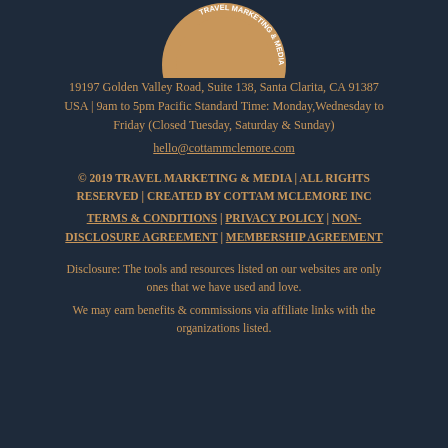[Figure (logo): Circular bronze/tan logo with text 'TRAVEL MARKETING & MEDIA' around the rim, partially visible at top of page]
19197 Golden Valley Road, Suite 138, Santa Clarita, CA 91387 USA | 9am to 5pm Pacific Standard Time: Monday,Wednesday to Friday (Closed Tuesday, Saturday & Sunday)
hello@cottammclemore.com
© 2019 TRAVEL MARKETING & MEDIA | ALL RIGHTS RESERVED | CREATED BY COTTAM MCLEMORE INC
TERMS & CONDITIONS | PRIVACY POLICY | NON-DISCLOSURE AGREEMENT | MEMBERSHIP AGREEMENT
Disclosure: The tools and resources listed on our websites are only ones that we have used and love.
We may earn benefits & commissions via affiliate links with the organizations listed.